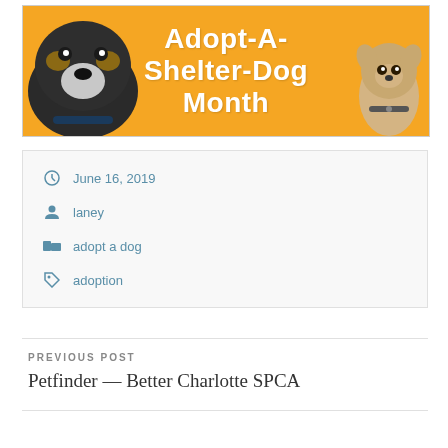[Figure (illustration): Orange banner with two dogs (a large black and white pit bull on the left and a small chihuahua on the right) and white bold text reading 'Adopt-A-Shelter-Dog Month']
June 16, 2019
laney
adopt a dog
adoption
PREVIOUS POST
Petfinder — Better Charlotte SPCA